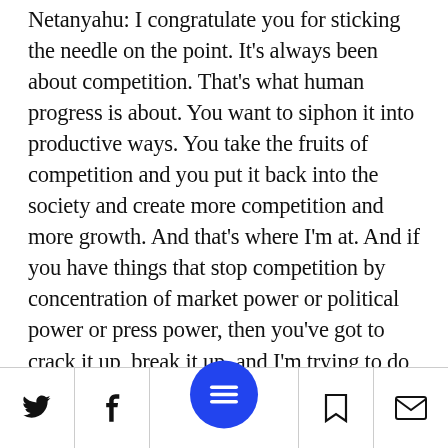Netanyahu: I congratulate you for sticking the needle on the point. It's always been about competition. That's what human progress is about. You want to siphon it into productive ways. You take the fruits of competition and you put it back into the society and create more competition and more growth. And that's where I'm at. And if you have things that stop competition by concentration of market power or political power or press power, then you've got to crack it up, break it up, and I'm trying to do that even though they sometimes try to break me.
Social share and navigation bar with Twitter, Facebook, menu, bookmark, and email icons